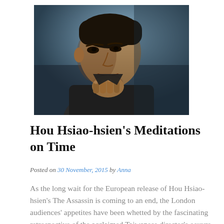[Figure (photo): Black and white close-up photograph of a middle-aged Asian man in a dark shirt, resting his chin on his hand in a thoughtful pose, with a blurred background.]
Hou Hsiao-hsien's Meditations on Time
Posted on 30 November, 2015 by Anna
As the long wait for the European release of Hou Hsiao-hsien's The Assassin is coming to an end, the London audiences' appetites have been whetted by the fascinating retrospective of the acclaimed Taiwanese director's oeuvre  [ . . . ]